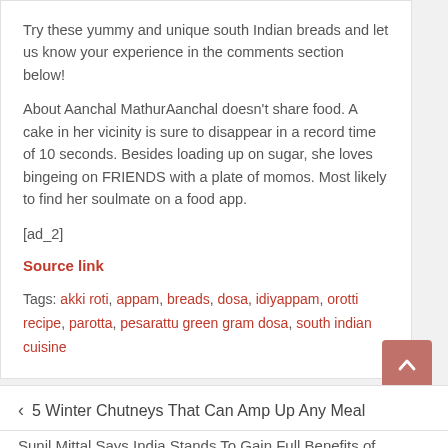Try these yummy and unique south Indian breads and let us know your experience in the comments section below!
About Aanchal MathurAanchal doesn’t share food. A cake in her vicinity is sure to disappear in a record time of 10 seconds. Besides loading up on sugar, she loves bingeing on FRIENDS with a plate of momos. Most likely to find her soulmate on a food app.
[ad_2]
Source link
Tags: akki roti, appam, breads, dosa, idiyappam, orotti recipe, parotta, pesarattu green gram dosa, south indian cuisine
< 5 Winter Chutneys That Can Amp Up Any Meal
Sunil Mittal Says India Stands To Gain Full Benefits of